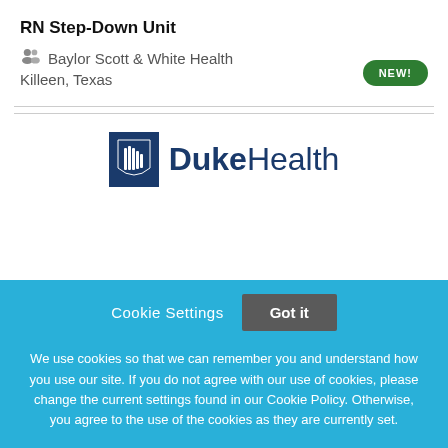RN Step-Down Unit
Baylor Scott & White Health
Killeen, Texas
[Figure (logo): Duke Health logo with blue square icon and Duke Health text]
Cookie Settings  Got it
We use cookies so that we can remember you and understand how you use our site. If you do not agree with our use of cookies, please change the current settings found in our Cookie Policy. Otherwise, you agree to the use of the cookies as they are currently set.